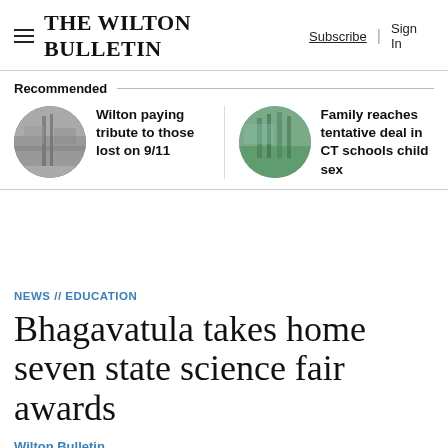THE WILTON BULLETIN | Subscribe | Sign In
Recommended
Wilton paying tribute to those lost on 9/11
Family reaches tentative deal in CT schools child sex
NEWS // EDUCATION
Bhagavatula takes home seven state science fair awards
Wilton Bulletin